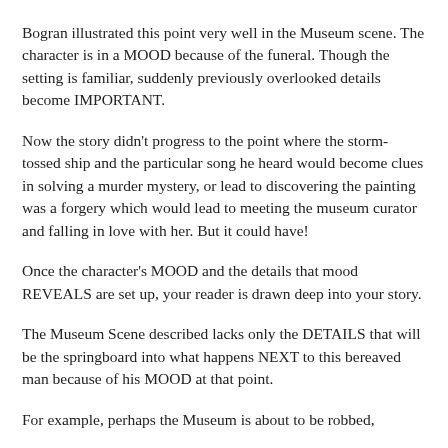Bogran illustrated this point very well in the Museum scene.  The character is in a MOOD because of the funeral.  Though the setting is familiar, suddenly previously overlooked details become IMPORTANT.
Now the story didn't progress to the point where the storm-tossed ship and the particular song he heard would become clues in solving a murder mystery, or lead to discovering the painting was a forgery which would lead to meeting the museum curator and falling in love with her.  But it could have!
Once the character's MOOD and the details that mood REVEALS are set up, your reader is drawn deep into your story.
The Museum Scene described lacks only the DETAILS that will be the springboard into what happens NEXT to this bereaved man because of his MOOD at that point.
For example, perhaps the Museum is about to be robbed,